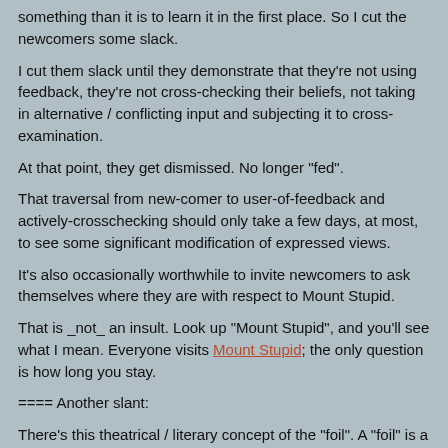something than it is to learn it in the first place. So I cut the newcomers some slack.
I cut them slack until they demonstrate that they're not using feedback, they're not cross-checking their beliefs, not taking in alternative / conflicting input and subjecting it to cross-examination.
At that point, they get dismissed. No longer "fed".
That traversal from new-comer to user-of-feedback and actively-crosschecking should only take a few days, at most, to see some significant modification of expressed views.
It's also occasionally worthwhile to invite newcomers to ask themselves where they are with respect to Mount Stupid.
That is _not_ an insult. Look up "Mount Stupid", and you'll see what I mean. Everyone visits Mount Stupid; the only question is how long you stay.
==== Another slant:
There's this theatrical / literary concept of the "foil". A "foil" is a character whose traits are antithetical to those of the Main Protagonist. The theater/literature shows the combat between the antagonist/protagonist, and lessons are learned by who comes out on top.